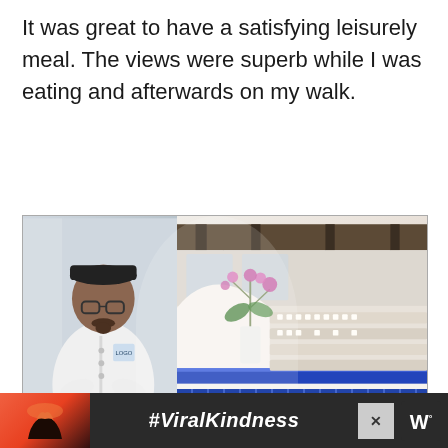It was great to have a satisfying leisurely meal. The views were superb while I was eating and afterwards on my walk.
[Figure (photo): A chef in white uniform standing with arms crossed in a restaurant with white walls, blue tile accents, an orchid flower arrangement, and dining tables set in the background.]
Las Brisas
[Figure (other): Advertisement banner at the bottom showing hands making a heart shape against a sunset, with the text #ViralKindness and a W logo (iHeartMedia).]